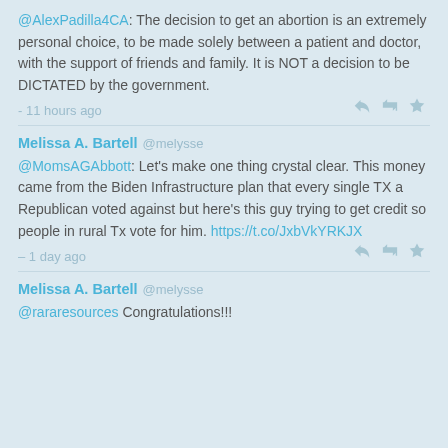@AlexPadilla4CA: The decision to get an abortion is an extremely personal choice, to be made solely between a patient and doctor, with the support of friends and family. It is NOT a decision to be DICTATED by the government.
- 11 hours ago
Melissa A. Bartell @melysse
@MomsAGAbbott: Let's make one thing crystal clear. This money came from the Biden Infrastructure plan that every single TX a Republican voted against but here's this guy trying to get credit so people in rural Tx vote for him. https://t.co/JxbVkYRKJX
- 1 day ago
Melissa A. Bartell @melysse
@rararesources Congratulations!!!